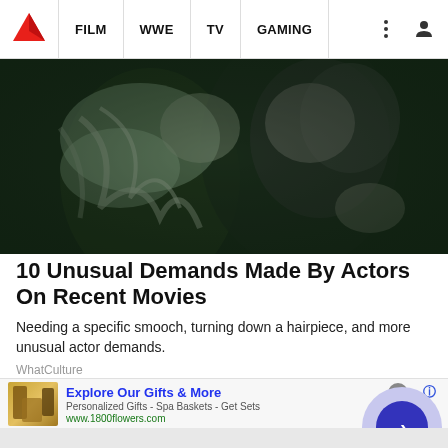FILM  WWE  TV  GAMING
[Figure (photo): Black and white photo of two people in an intimate/kissing scene outdoors, tinted dark green]
10 Unusual Demands Made By Actors On Recent Movies
Needing a specific smooch, turning down a hairpiece, and more unusual actor demands.
WhatCulture
[Figure (screenshot): Advertisement banner for 1800flowers.com: Explore Our Gifts & More. Personalized Gifts - Spa Baskets - Get Sets. www.1800flowers.com. Shows gift products image on left and a blue arrow button on right.]